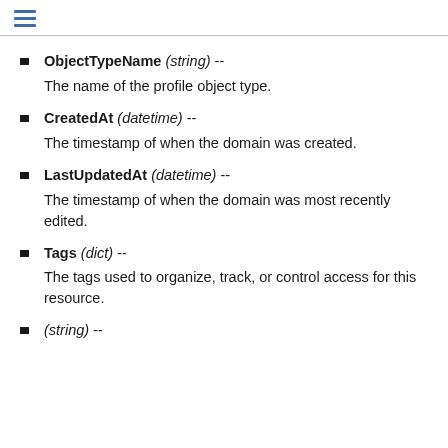ObjectTypeName (string) -- The name of the profile object type.
CreatedAt (datetime) -- The timestamp of when the domain was created.
LastUpdatedAt (datetime) -- The timestamp of when the domain was most recently edited.
Tags (dict) -- The tags used to organize, track, or control access for this resource.
(string) --